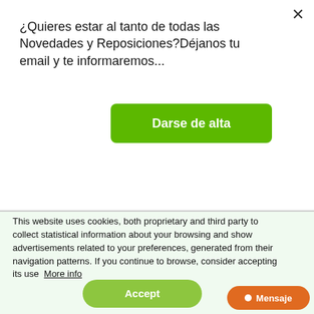¿Quieres estar al tanto de todas las Novedades y Reposiciones?Déjanos tu email y te informaremos...
Darse de alta
Add to cart
+Info
This website uses cookies, both proprietary and third party to collect statistical information about your browsing and show advertisements related to your preferences, generated from their navigation patterns. If you continue to browse, consider accepting its use  More info
Accept
Mensaje